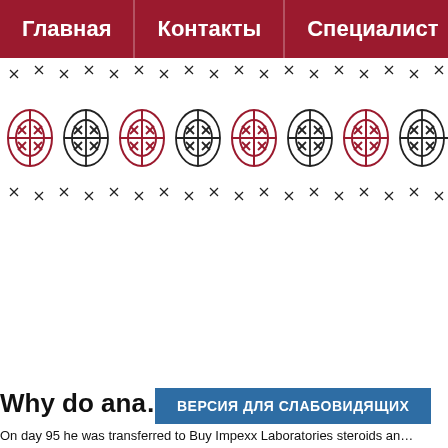Главная | Контакты | Специалист
[Figure (illustration): Decorative embroidery-style banner with cross-stitch pattern in red and black on white background, repeating ornamental motifs.]
Why do ana... ve
ВЕРСИЯ ДЛЯ СЛАБОВИДЯЩИХ
On day 95 he was transferred to Buy Impexx Laboratories steroids and...